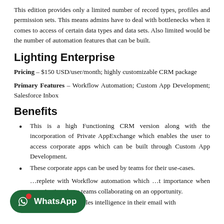This edition provides only a limited number of record types, profiles and permission sets. This means admins have to deal with bottlenecks when it comes to access of certain data types and data sets. Also limited would be the number of automation features that can be built.
Lighting Enterprise
Pricing – $150 USD/user/month; highly customizable CRM package
Primary Features – Workflow Automation; Custom App Development; Salesforce Inbox
Benefits
This is a high Functioning CRM version along with the incorporation of Private AppExchange which enables the user to access corporate apps which can be built through Custom App Development.
These corporate apps can be used by teams for their use-cases.
...replete with Workflow automation which ...t importance when organizations have teams collaborating on an opportunity.
This also includes Sales intelligence in their email with